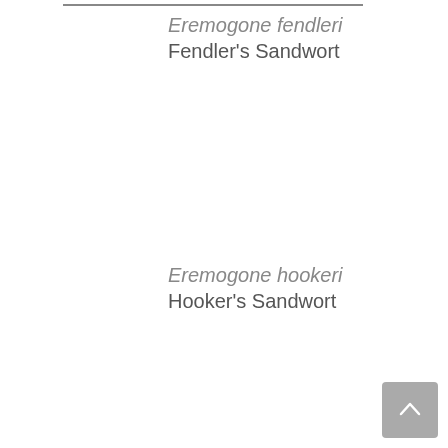Eremogone fendleri
Fendler's Sandwort
Eremogone hookeri
Hooker's Sandwort